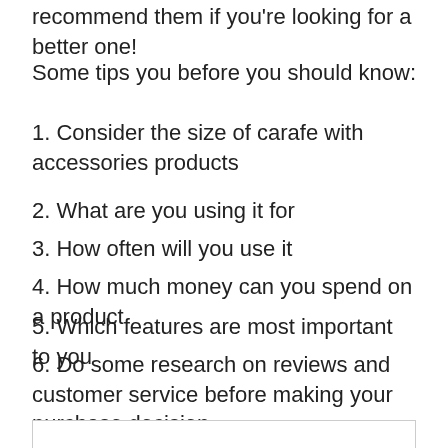recommend them if you're looking for a better one!
Some tips you before you should know:
1. Consider the size of carafe with accessories products
2. What are you using it for
3. How often will you use it
4. How much money can you spend on a product
5. Which features are most important to you
6. Do some research on reviews and customer service before making your purchase decision